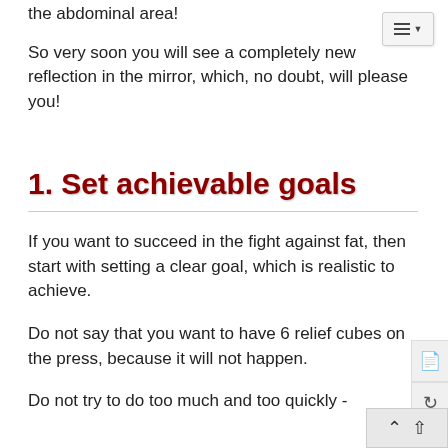the abdominal area!
So very soon you will see a completely new reflection in the mirror, which, no doubt, will please you!
1. Set achievable goals
If you want to succeed in the fight against fat, then start with setting a clear goal, which is realistic to achieve.
Do not say that you want to have 6 relief cubes on the press, because it will not happen.
Do not try to do too much and too quickly -